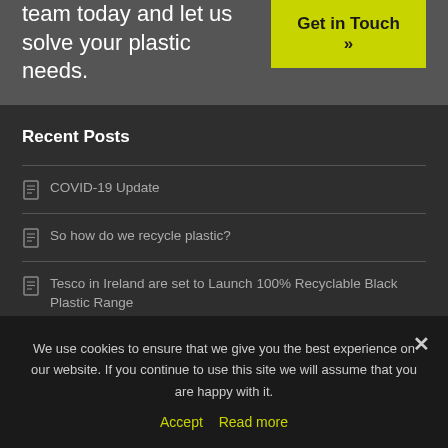team today and let us solve your plastic needs.
Get in Touch »
Recent Posts
COVID-19 Update
So how do we recycle plastic?
Tesco in Ireland are set to Launch 100% Recyclable Black Plastic Range
We use cookies to ensure that we give you the best experience on our website. If you continue to use this site we will assume that you are happy with it.
Accept   Read more